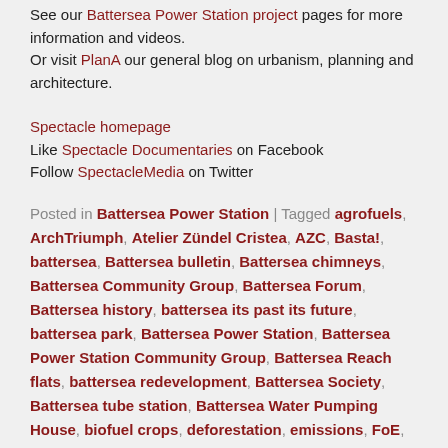See our Battersea Power Station project pages for more information and videos.
Or visit PlanA our general blog on urbanism, planning and architecture.
Spectacle homepage
Like Spectacle Documentaries on Facebook
Follow SpectacleMedia on Twitter
Posted in Battersea Power Station | Tagged agrofuels, ArchTriumph, Atelier Zündel Cristea, AZC, Basta!, battersea, Battersea bulletin, Battersea chimneys, Battersea Community Group, Battersea Forum, Battersea history, battersea its past its future, battersea park, Battersea Power Station, Battersea Power Station Community Group, Battersea Reach flats, battersea redevelopment, Battersea Society, Battersea tube station, Battersea Water Pumping House, biofuel crops, deforestation, emissions, FoE, Friends of the Earth, Guinea Highlands, illegal logging, Indonesia, industrial Battersea, Liberia, Malaysia, Malaysian consortium, Orangutan, Orangutans, palm oil, rainforest, Rollercoaster, Roundtable of Sustainable Palm Oil, Sime Darby,